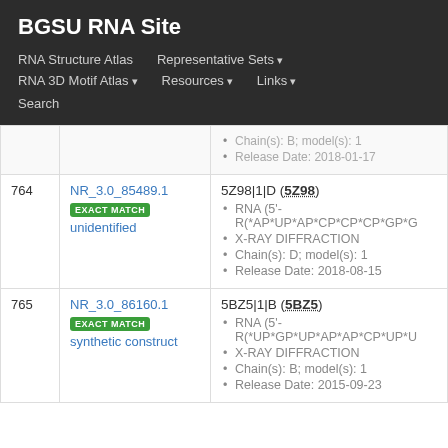BGSU RNA Site
RNA Structure Atlas | Representative Sets ▾ | RNA 3D Motif Atlas ▾ | Resources ▾ | Links ▾ | Search
| # | ID | Details |
| --- | --- | --- |
| 764 | NR_3.0_85489.1 EXACT MATCH unidentified | 5Z98|1|D (5Z98)
• RNA (5'-R(*AP*UP*AP*CP*CP*CP*GP*G...
• X-RAY DIFFRACTION
• Chain(s): D; model(s): 1
• Release Date: 2018-08-15 |
| 765 | NR_3.0_86160.1 EXACT MATCH synthetic construct | 5BZ5|1|B (5BZ5)
• RNA (5'-R(*UP*GP*UP*AP*AP*CP*UP*U...
• X-RAY DIFFRACTION
• Chain(s): B; model(s): 1
• Release Date: 2015-09-23 |